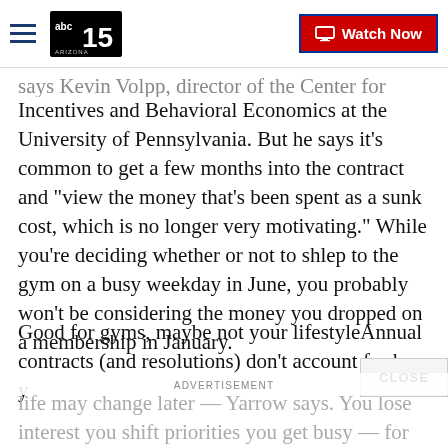ABC15 Arizona — Watch Now
says Kevin Volpp, director of the Center for Health Incentives and Behavioral Economics at the University of Pennsylvania. But he says it’s common to get a few months into the contract and “view the money that’s been spent as a sunk cost, which is no longer very motivating.” While you’re deciding whether or not to shlep to the gym on a busy weekday in June, you probably won’t be considering the money you dropped on a membership in January.
Good for gyms, maybe not your lifestyleAnnual contracts (and resolutions) don’t account for how your life may change later — Yarrow says. You lose interest you shift priorities you get busy — for whatever reason, you may not be a gym-goer this...